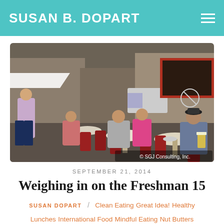SUSAN B. DOPART
[Figure (photo): Outdoor café scene with people sitting at round tables with red chairs on a busy street, a man walking past in a lavender shirt, and a beer on the table. Copyright watermark: © SGJ Consulting, Inc.]
SEPTEMBER 21, 2014
Weighing in on the Freshman 15
SUSAN DOPART / Clean Eating  Great Idea!  Healthy Lunches  International Food  Mindful Eating  Nut Butters